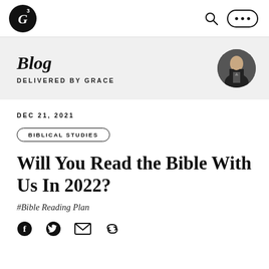G3 Blog — navigation header with search and menu icons
Blog
DELIVERED BY GRACE
DEC 21, 2021
BIBLICAL STUDIES
Will You Read the Bible With Us In 2022?
#Bible Reading Plan